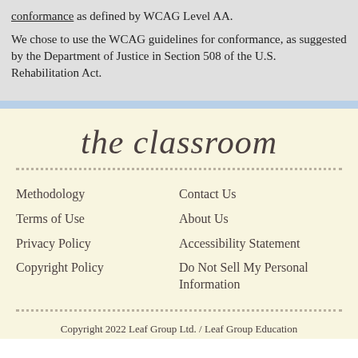conformance as defined by WCAG Level AA.
We chose to use the WCAG guidelines for conformance, as suggested by the Department of Justice in Section 508 of the U.S. Rehabilitation Act.
[Figure (logo): The Classroom script logo in cursive font on a cream/yellow background]
Methodology
Terms of Use
Privacy Policy
Copyright Policy
Contact Us
About Us
Accessibility Statement
Do Not Sell My Personal Information
Copyright 2022 Leaf Group Ltd. / Leaf Group Education